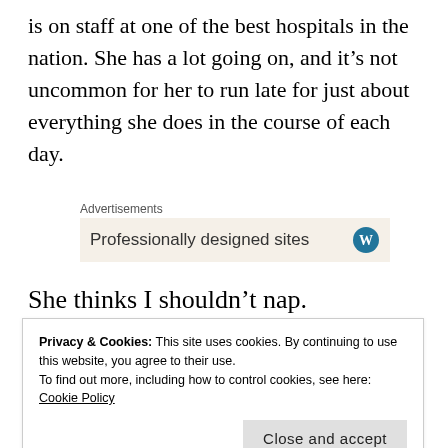is on staff at one of the best hospitals in the nation. She has a lot going on, and it's not uncommon for her to run late for just about everything she does in the course of each day.
[Figure (screenshot): Advertisement banner with text 'Professionally designed sites' and a WordPress logo icon on a beige background]
She thinks I shouldn't nap.
the day. She says it can disrupt my normal circadian
Privacy & Cookies: This site uses cookies. By continuing to use this website, you agree to their use.
To find out more, including how to control cookies, see here: Cookie Policy